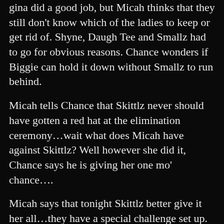gina did a good job, but Micah thinks that they still don't know which of the ladies to keep or get rid of. Shyne, Daugh Tee and Smallz had to go for obvious reasons. Chance wonders if Biggie can hold it down without Smallz to run behind.
Micah tells Chance that Skittlz never should have gotten a red hat at the elimination ceremony…wait what does Micah have against Skittlz? Well however she did it, Chance says he is giving her one mo' chance….
Micah says that tonight Skittlz better give it her all…they have a special challenge set up. “The Cowgirl Stripper Challenge”…do we care? They head off to the ranch…wherever that is, lol.
Next...